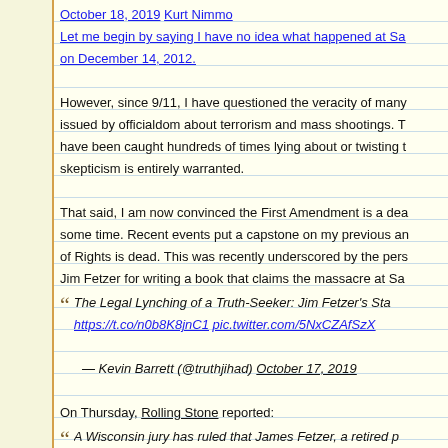October 18, 2019 Kurt Nimmo
Let me begin by saying I have no idea what happened at Sa on December 14, 2012.
However, since 9/11, I have questioned the veracity of many issued by officialdom about terrorism and mass shootings. T have been caught hundreds of times lying about or twisting t skepticism is entirely warranted.
That said, I am now convinced the First Amendment is a dea some time. Recent events put a capstone on my previous an of Rights is dead. This was recently underscored by the pers Jim Fetzer for writing a book that claims the massacre at Sa
The Legal Lynching of a Truth-Seeker: Jim Fetzer's Sta https://t.co/n0b8K8jnC1 pic.twitter.com/5NxCZAfSzX
— Kevin Barrett (@truthjihad) October 17, 2019
On Thursday, Rolling Stone reported:
A Wisconsin jury has ruled that James Fetzer, a retired p of Minnesota Duluth, must pay [Leonard] Pozner $450, forging his son Noah's death certificate. Fetzer is the co Sandy Hook, which alleges that Pozner faked his son's